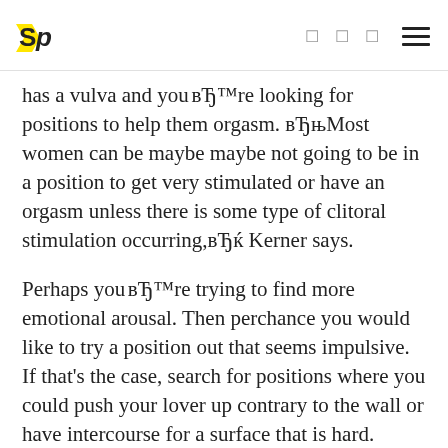SP logo with navigation icons and hamburger menu
has a vulva and youвЂ™re looking for positions to help them orgasm. вЂњMost women can be maybe maybe not going to be in a position to get very stimulated or have an orgasm unless there is some type of clitoral stimulation occurring,вЂќ Kerner says.
Perhaps youвЂ™re trying to find more emotional arousal. Then perchance you would like to try a position out that seems impulsive. If that's the case, search for positions where you could push your lover up contrary to the wall or have intercourse for a surface that is hard.